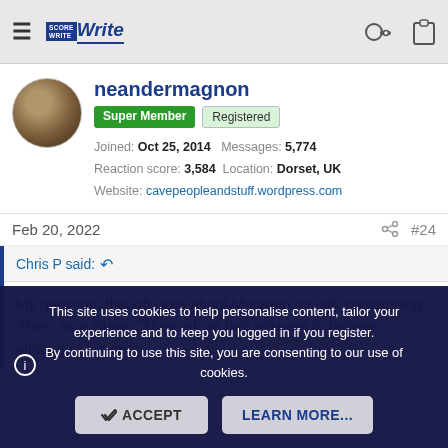≡ [ScoreWrite logo] [key icon] [clipboard icon]
neandermagnon
Super Member  Registered
Joined: Oct 25, 2014  Messages: 5,774
Reaction score: 3,584  Location: Dorset, UK
Website: cavepeopleandstuff.wordpress.com
Feb 20, 2022  #24
Chris P said: ↩
My question, though, was about Marsden usually conjugating "they" as a plural: "They refuse [not refuses] to believe. . ." although I noticed
This site uses cookies to help personalise content, tailor your experience and to keep you logged in if you register.
By continuing to use this site, you are consenting to our use of cookies.
ACCEPT  LEARN MORE...